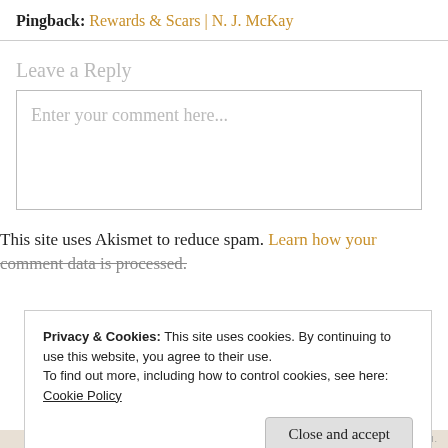Pingback: Rewards & Scars | N. J. McKay
Leave a Reply
Enter your comment here...
This site uses Akismet to reduce spam. Learn how your comment data is processed.
Privacy & Cookies: This site uses cookies. By continuing to use this website, you agree to their use. To find out more, including how to control cookies, see here: Cookie Policy
Close and accept